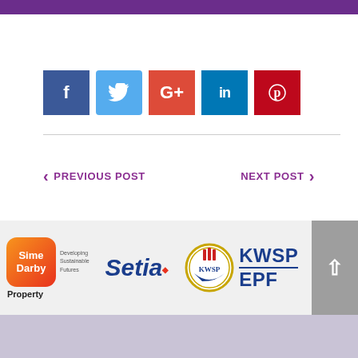[Figure (other): Purple horizontal bar at the top of the page]
[Figure (other): Social media share buttons: Facebook (blue), Twitter (light blue), Google+ (red), LinkedIn (teal), Pinterest (red)]
[Figure (other): Navigation links: PREVIOUS POST (left, with left arrow) and NEXT POST (right, with right arrow), in purple uppercase text]
[Figure (logo): Footer sponsor logos: Sime Darby Property (orange/red rounded badge with tagline 'Developing Sustainable Futures'), Setia (blue italic with red diamond), KWSP EPF (emblem with blue text)]
[Figure (other): Lavender/purple footer bar at the bottom]